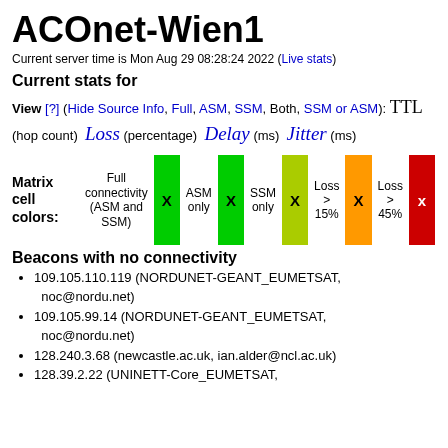ACOnet-Wien1
Current server time is Mon Aug 29 08:28:24 2022 (Live stats)
Current stats for
View [?] (Hide Source Info, Full, ASM, SSM, Both, SSM or ASM): TTL (hop count) Loss (percentage) Delay (ms) Jitter (ms)
[Figure (infographic): Matrix cell colors legend showing: Full connectivity (ASM and SSM) - bright green bar with X, ASM only - bright green bar with X, SSM only - yellow-green bar with X, Loss > 15% - orange bar with X, Loss > 45% - red bar with X]
Beacons with no connectivity
109.105.110.119 (NORDUNET-GEANT_EUMETSAT, noc@nordu.net)
109.105.99.14 (NORDUNET-GEANT_EUMETSAT, noc@nordu.net)
128.240.3.68 (newcastle.ac.uk, ian.alder@ncl.ac.uk)
128.39.2.22 (UNINETT-Core_EUMETSAT,